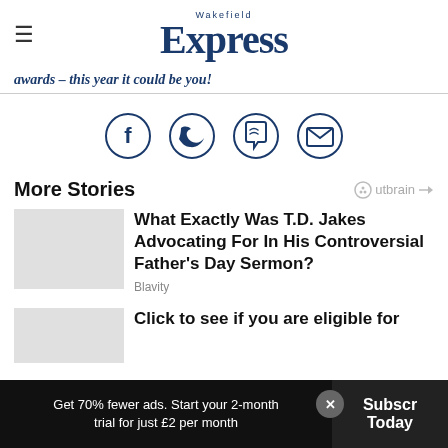Wakefield Express
awards – this year it could be you!
[Figure (infographic): Four circular social sharing icons: Facebook, Twitter, WhatsApp, and Email, outlined in dark blue]
More Stories
[Figure (logo): Outbrain logo with play icon]
What Exactly Was T.D. Jakes Advocating For In His Controversial Father's Day Sermon?
Blavity
Click to see if you are eligible for
Get 70% fewer ads. Start your 2-month trial for just £2 per month
Subscribe Today